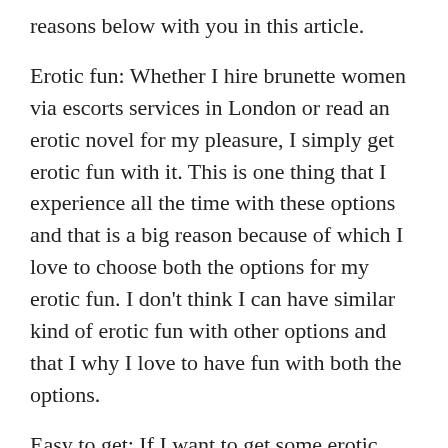reasons below with you in this article.
Erotic fun: Whether I hire brunette women via escorts services in London or read an erotic novel for my pleasure, I simply get erotic fun with it. This is one thing that I experience all the time with these options and that is a big reason because of which I love to choose both the options for my erotic fun. I don't think I can have similar kind of erotic fun with other options and that I why I love to have fun with both the options.
Easy to get: If I want to get some erotic novels, then I can get that with utmost simplicity. The internet is full of such novels and I just need to download it from one of those websites that sell this kind of novels. Other than this, I can also buy the offline version of a book from the web or from